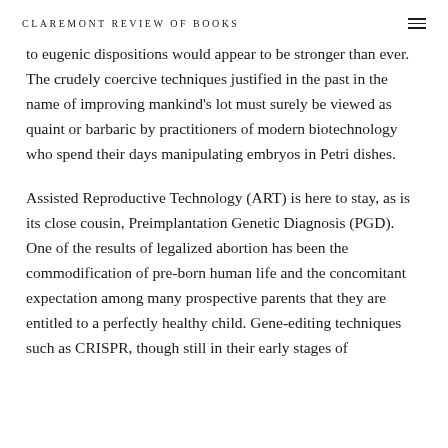CLAREMONT REVIEW OF BOOKS
to eugenic dispositions would appear to be stronger than ever. The crudely coercive techniques justified in the past in the name of improving mankind's lot must surely be viewed as quaint or barbaric by practitioners of modern biotechnology who spend their days manipulating embryos in Petri dishes.
Assisted Reproductive Technology (ART) is here to stay, as is its close cousin, Preimplantation Genetic Diagnosis (PGD). One of the results of legalized abortion has been the commodification of pre-born human life and the concomitant expectation among many prospective parents that they are entitled to a perfectly healthy child. Gene-editing techniques such as CRISPR, though still in their early stages of